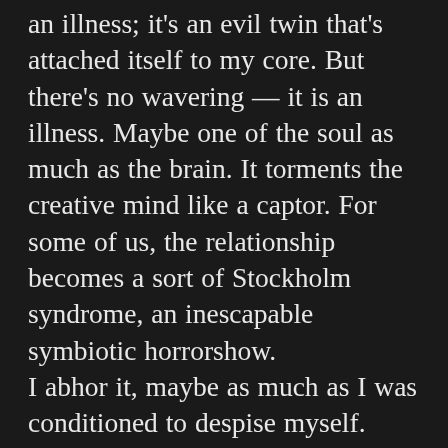an illness; it's an evil twin that's attached itself to my core. But there's no wavering — it is an illness. Maybe one of the soul as much as the brain. It torments the creative mind like a captor. For some of us, the relationship becomes a sort of Stockholm syndrome, an inescapable symbiotic horrorshow. I abhor it, maybe as much as I was conditioned to despise myself. Then I wonder if that instinctual over-analytic contemplation, the drive to understand and develop answers and solutions — a catalyst of change, a fuel of creation has some essence that fills a need — even when it leads to nowhere on the external. With depression's tightening hands around life and art's (those too are synonymous) throat and rewards, change or colour come in any